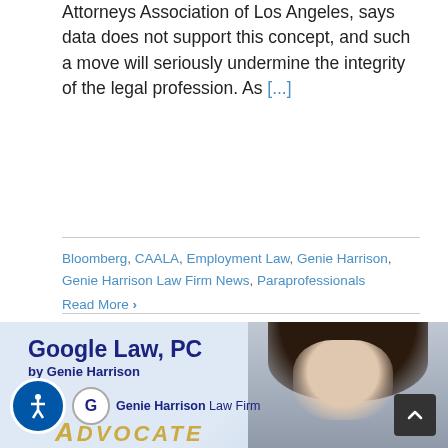Attorneys Association of Los Angeles, says data does not support this concept, and such a move will seriously undermine the integrity of the legal profession. As [...]
Bloomberg, CAALA, Employment Law, Genie Harrison, Genie Harrison Law Firm News, Paraprofessionals
Read More >
[Figure (photo): Advertisement for 'Google Law, PC by Genie Harrison' featuring the Genie Harrison Law Firm logo and a photo of a woman (Genie Harrison) with dark hair in a white jacket. Text 'ADVOCATE' partially visible at bottom. Accessibility icon and scroll-to-top button visible.]